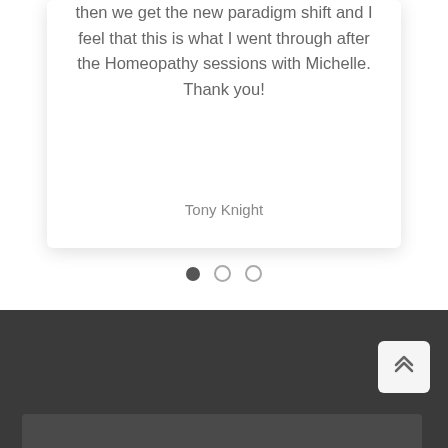then we get the new paradigm shift and I feel that this is what I went through after the Homeopathy sessions with Michelle. Thank you!
Tony Knight
[Figure (other): Carousel navigation dots: three circles, first filled (active), second and third outlined (inactive)]
[Figure (other): Scroll-to-top button with double chevron up arrow icon, light gray rounded square button, positioned in dark footer area bottom right]